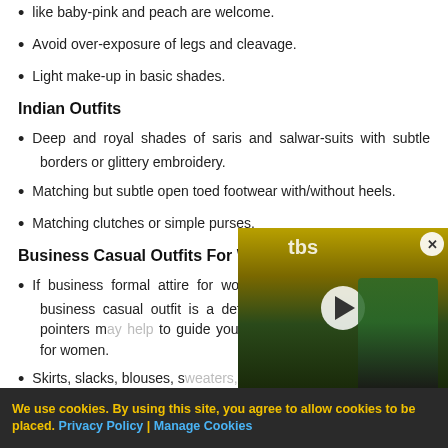like baby-pink and peach are welcome.
Avoid over-exposure of legs and cleavage.
Light make-up in basic shades.
Indian Outfits
Deep and royal shades of saris and salwar-suits with subtle borders or glittery embroidery.
Matching but subtle open toed footwear with/without heels.
Matching clutches or simple purses.
Business Casual Outfits For Women
If business formal attire for women is a slippery affair then business casual outfit is a definite swamp. However, these pointers m... to guide you through the ... casuals for women.
Skirts, slacks, blouses, sw... jackets.
[Figure (screenshot): Video player overlay showing TBS television network content with two people on a red carpet, a play button in the center, and a close button in the top right.]
We use cookies. By using this site, you agree to allow cookies to be placed. Privacy Policy | Manage Cookies